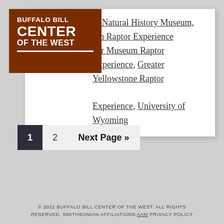[Figure (logo): Buffalo Bill Center of the West logo — white text on dark brown background]
er Natural History Museum, um Raptor Experience per Museum Raptor Experience, Greater Yellowstone Raptor Experience, University of Wyoming
1
2
Next Page »
© 2022 BUFFALO BILL CENTER OF THE WEST. ALL RIGHTS RESERVED. SMITHSONIAN AFFILIATIONS AAM PRIVACY POLICY